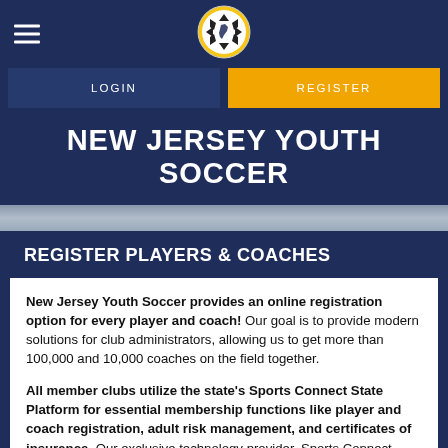[Figure (logo): New Jersey Youth Soccer circular logo with soccer ball and NJ state shape, blue and yellow]
LOGIN    REGISTER
NEW JERSEY YOUTH SOCCER
REGISTER PLAYERS & COACHES
New Jersey Youth Soccer provides an online registration option for every player and coach! Our goal is to provide modern solutions for club administrators, allowing us to get more than 100,000 and 10,000 coaches on the field together.
All member clubs utilize the state's Sports Connect State Platform for essential membership functions like player and coach registration, adult risk management, and certificates of insurance. Our exclusive technology provider, Sports Connect, aims to connect administrators,